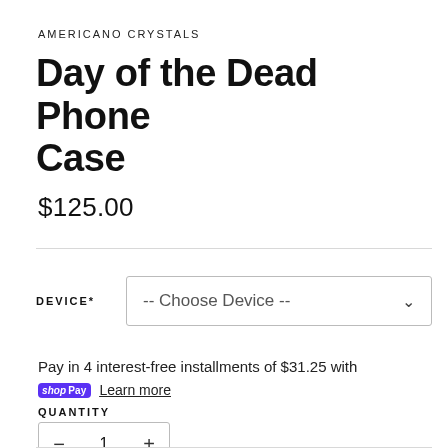AMERICANO CRYSTALS
Day of the Dead Phone Case
$125.00
DEVICE* -- Choose Device --
Pay in 4 interest-free installments of $31.25 with shop Pay Learn more
QUANTITY
- 1 +